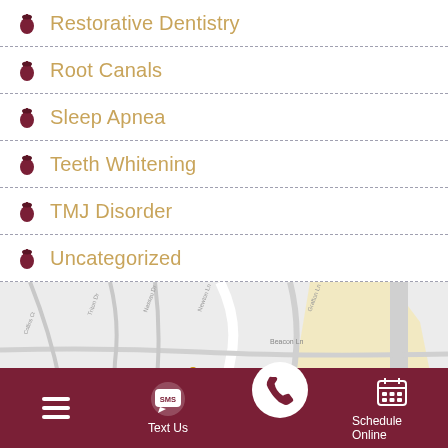Restorative Dentistry
Root Canals
Sleep Apnea
Teeth Whitening
TMJ Disorder
Uncategorized
[Figure (map): Google Maps street map showing local neighborhood streets including Beacon Ln, Lake Forest Dr, Port Vale Dr, Kildare Cr, Nassau Dr, Grafton Ln, Brookridge Ave, Rustic Ridge Dr, with a map pin marker indicating dental office location.]
Menu | Text Us | Phone | Schedule Online